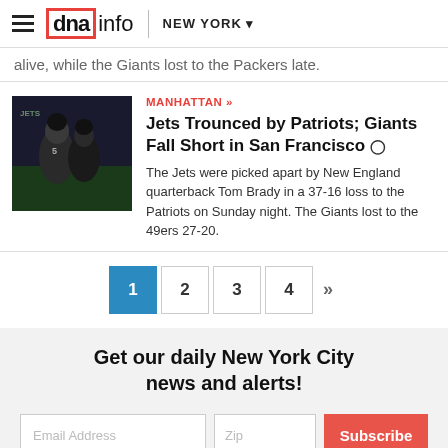dnainfo | NEW YORK
alive, while the Giants lost to the Packers late.
MANHATTAN »
Jets Trounced by Patriots; Giants Fall Short in San Francisco
The Jets were picked apart by New England quarterback Tom Brady in a 37-16 loss to the Patriots on Sunday night. The Giants lost to the 49ers 27-20.
[Figure (photo): Football game action photo showing Jets vs Patriots players]
1 2 3 4 »
Get our daily New York City news and alerts!
Email Address | Zip | Subscribe